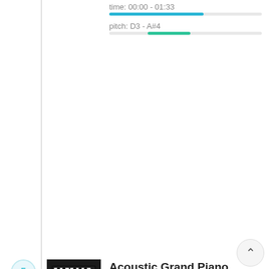time: 00:00 - 01:33
pitch: D3 - A#4
Acoustic Grand Piano
45 notes/chords►vg. pitch A#3
time: 00:18 - 02:41
pitch: G#2 - D6
Acoustic Grand Piano
599 notes/chords►vg. pitch E5
time: 00:00 - 02:43
pitch: C3 - A#6